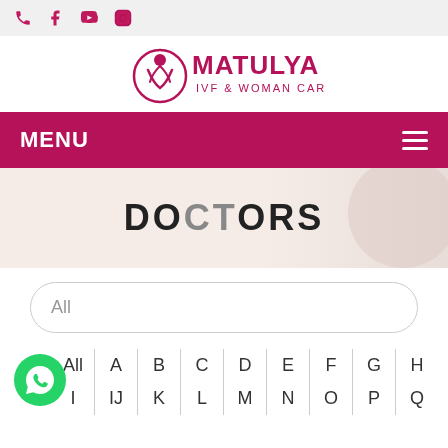Social icons: phone, facebook, youtube, instagram
[Figure (logo): Matulya IVF & Woman Care logo with stylized mother and child graphic in pink/magenta]
MENU
[Figure (illustration): Doctors page hero banner with large text DOCTORS on a light beige/pink background with decorative circular element on the right]
All
All | A | B | C | D | E | F | G | H | I | IJ | K | L | M | N | O | P | Q